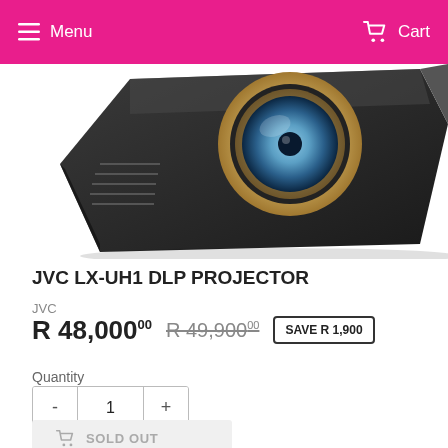Menu  Cart
[Figure (photo): JVC LX-UH1 DLP Projector product photo showing the front/top of the black projector with gold lens ring on a white background]
JVC LX-UH1 DLP PROJECTOR
JVC
R 48,000.00  R 49,900.00  SAVE R 1,900
Quantity
- 1 +
SOLD OUT